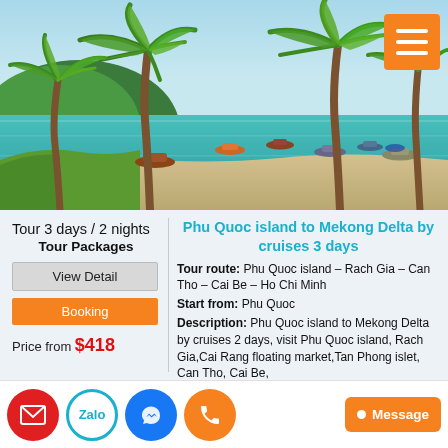[Figure (photo): Tropical beach scene with palm trees, turquoise water, fishing boats, and lush green hills in the background — Phu Quoc island, Vietnam]
Tour 3 days / 2 nights
Tour Packages
View Detail
Booking
Price from $418
Phu Quoc island to Mekong Delta by cruises 3 days
Tour route: Phu Quoc island – Rach Gia – Can Tho – Cai Be – Ho Chi Minh
Start from: Phu Quoc
Description: Phu Quoc island to Mekong Delta by cruises 2 days, visit Phu Quoc island, Rach Gia,Cai Rang floating market,Tan Phong islet, Can Tho, Cai Be,
[Figure (logo): Email icon (red circle)]
[Figure (logo): Zalo icon (white/blue circle)]
[Figure (logo): Messenger icon (blue circle)]
[Figure (logo): Phone icon (orange circle)]
Message